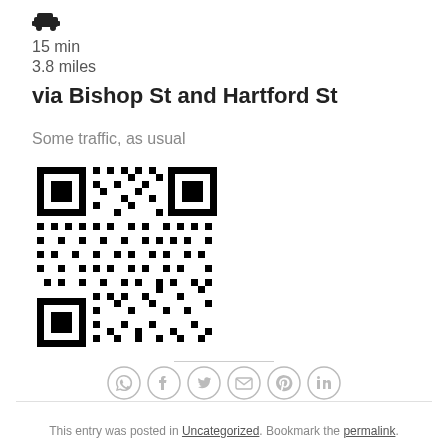[Figure (other): Car/driving icon (black silhouette of a car)]
15 min
3.8 miles
via Bishop St and Hartford St
Some traffic, as usual
[Figure (other): QR code image]
[Figure (other): Social sharing icons row: WhatsApp, Facebook, Twitter, Email, Pinterest, LinkedIn]
This entry was posted in Uncategorized. Bookmark the permalink.